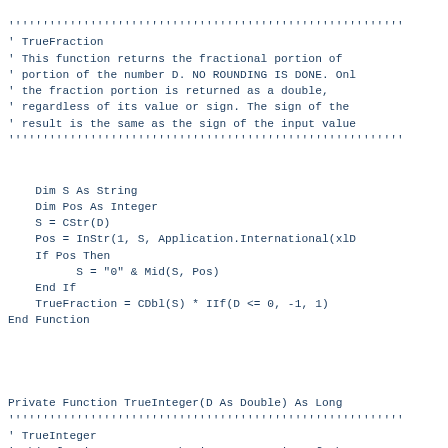' TrueFraction
' This function returns the fractional portion of
' portion of the number D. NO ROUNDING IS DONE. Onl
' the fraction portion is returned as a double,
' regardless of its value or sign. The sign of the
' result is the same as the sign of the input value
''''''''''''''''''''''''''''''''''''''''''''''''''''''
Dim S As String
    Dim Pos As Integer
    S = CStr(D)
    Pos = InStr(1, S, Application.International(xlD
    If Pos Then
          S = "0" & Mid(S, Pos)
    End If
    TrueFraction = CDbl(S) * IIf(D <= 0, -1, 1)
End Function
Private Function TrueInteger(D As Double) As Long
''''''''''''''''''''''''''''''''''''''''''''''''''''''
' TrueInteger
' This funciton returns the integer portion of the
' Double value D. NO ROUNDING IS DONE. The integer
' portion of the number, regardless of the value
' of the fraction portion is returned as a long.
' This differs from CInt function which will round
' values up to the next integer (positive values)
' or down to the next integer (negative values), an
' differs from the Int function which always rounds